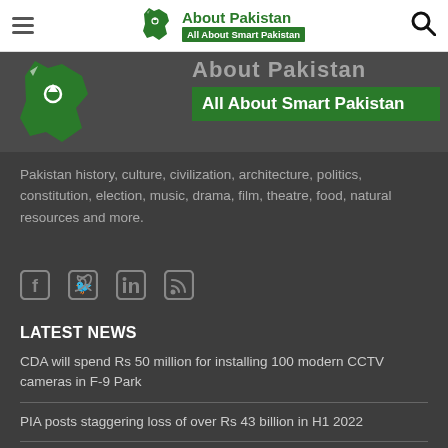About Pakistan — All About Smart Pakistan
[Figure (logo): About Pakistan logo with green Pakistan map silhouette and text 'About Pakistan / All About Smart Pakistan']
About Pakistan
All About Smart Pakistan
Pakistan history, culture, civilization, architecture, politics, constitution, election, music, drama, film, theatre, food, natural resources and more.
[Figure (infographic): Social media icons: Facebook, Twitter, LinkedIn, RSS feed]
LATEST NEWS
CDA will spend Rs 50 million for installing 100 modern CCTV cameras in F-9 Park
PIA posts staggering loss of over Rs 43 billion in H1 2022
KIA reopens bookings for all cars after government eased import restrictions
$273 million eco-friendly project planned to make Punjab